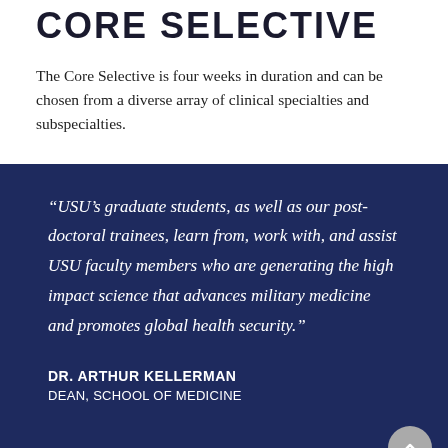CORE SELECTIVE
The Core Selective is four weeks in duration and can be chosen from a diverse array of clinical specialties and subspecialties.
“USU’s graduate students, as well as our post-doctoral trainees, learn from, work with, and assist USU faculty members who are generating the high impact science that advances military medicine and promotes global health security.”
DR. ARTHUR KELLERMAN
DEAN, SCHOOL OF MEDICINE